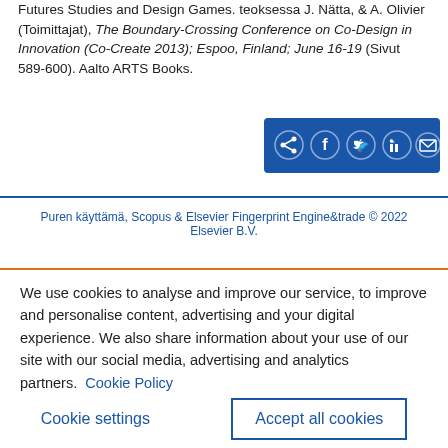Futures Studies and Design Games. teoksessa J. Nätta, & A. Olivier (Toimittajat), The Boundary-Crossing Conference on Co-Design in Innovation (Co-Create 2013); Espoo, Finland; June 16-19 (Sivut 589-600). Aalto ARTS Books.
[Figure (other): Social share buttons bar (blue background) with share, Facebook, Twitter, LinkedIn, and email icons]
Puren käyttämä, Scopus & Elsevier Fingerprint Engine&trade © 2022 Elsevier B.V.
We use cookies to analyse and improve our service, to improve and personalise content, advertising and your digital experience. We also share information about your use of our site with our social media, advertising and analytics partners. Cookie Policy
Cookie settings
Accept all cookies